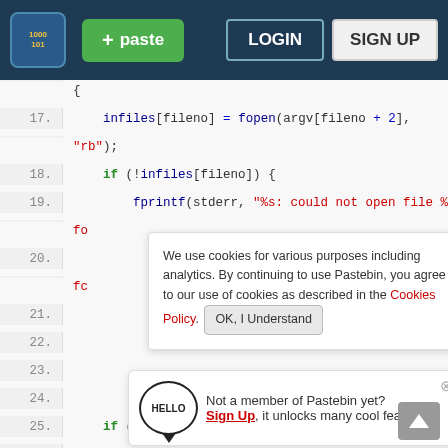Pastebin header with logo, paste button, login and sign up
[Figure (screenshot): Code viewer showing C code lines 17-27 with syntax highlighting, a cookie consent banner overlay, and a sign-up prompt banner]
We use cookies for various purposes including analytics. By continuing to use Pastebin, you agree to our use of cookies as described in the Cookies Policy. OK, I Understand
Not a member of Pastebin yet? Sign Up, it unlocks many cool features!